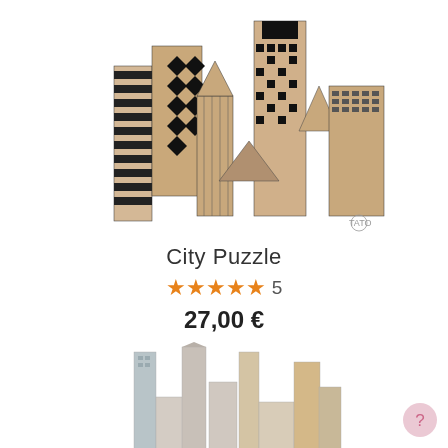[Figure (photo): 3D city puzzle made of laser-cut wooden/cardboard pieces assembled into a skyline of stylized skyscrapers with geometric black and natural wood patterns, small logo visible bottom right]
City Puzzle
★★★★★ 5
27,00 €
[Figure (photo): Partial view of another city puzzle product with pastel-colored buildings in beige, pink, and tan tones, partially cut off at the bottom of the page]